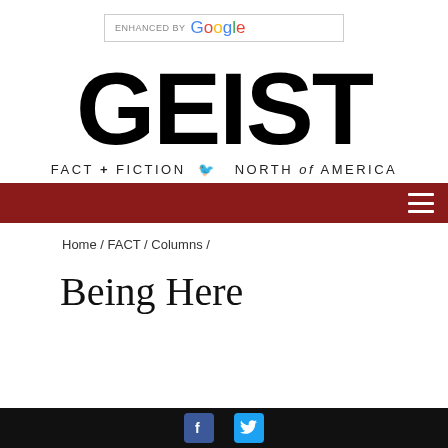[Figure (other): Enhanced by Google search bar widget]
[Figure (logo): GEIST magazine logo with tagline FACT + FICTION  NORTH of AMERICA]
Navigation bar with hamburger menu icon
Home / FACT / Columns /
Being Here
Facebook and Twitter social media icons